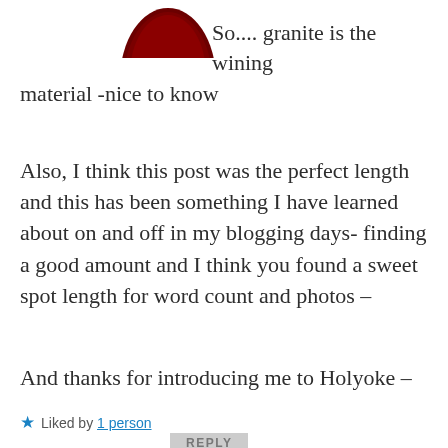[Figure (photo): Partial dark red/maroon circular avatar image at top center]
So.... granite is the wining material -nice to know
Also, I think this post was the perfect length and this has been something I have learned about on and off in my blogging days- finding a good amount and I think you found a sweet spot length for word count and photos –
And thanks for introducing me to Holyoke –
★ Liked by 1 person
REPLY